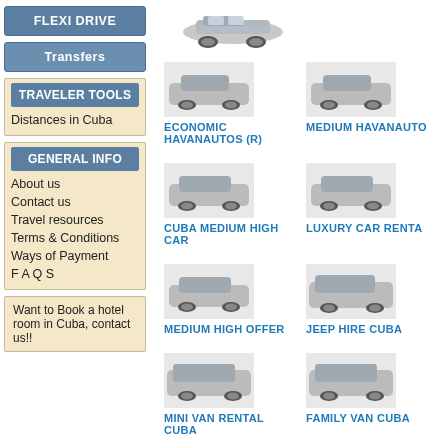FLEXI DRIVE
Transfers
TRAVELER TOOLS
Distances in Cuba
GENERAL INFO
About us
Contact us
Travel resources
Terms & Conditions
Ways of Payment
F A Q S
Want to Book a hotel room in Cuba, contact us!!
[Figure (photo): Car image thumbnail]
ECONOMIC HAVANAUTOS (R)
MEDIUM HAVANAUTO
CUBA MEDIUM HIGH CAR
LUXURY CAR RENTA
MEDIUM HIGH OFFER
JEEP HIRE CUBA
MINI VAN RENTAL CUBA
FAMILY VAN CUBA
HAVANAUTOS MEDIUM